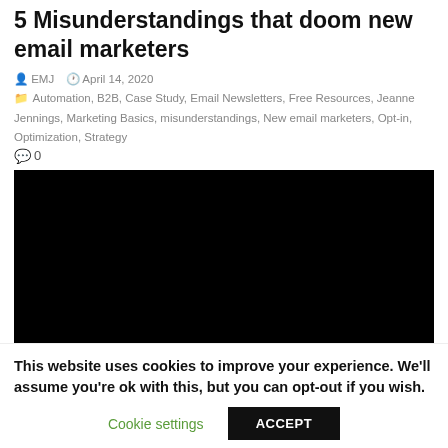5 Misunderstandings that doom new email marketers
EMJ  April 14, 2020  Automation, B2B, Case Study, Email Newsletters, Free Resources, Jeanne Jennings, Marketing Basics, misunderstandings, New email marketers, Opt-in, Optimization, Strategy
0
[Figure (screenshot): Black video player rectangle]
This website uses cookies to improve your experience. We'll assume you're ok with this, but you can opt-out if you wish. Cookie settings  ACCEPT